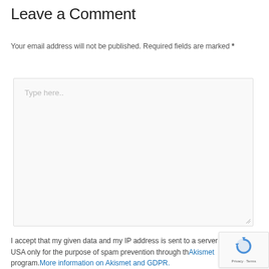Leave a Comment
Your email address will not be published. Required fields are marked *
[Figure (other): Text area input box with placeholder text 'Type here..' and resize handle]
I accept that my given data and my IP address is sent to a server in the USA only for the purpose of spam prevention through the Akismet program. More information on Akismet and GDPR.
[Figure (other): Google reCAPTCHA badge with logo and Privacy - Terms text]